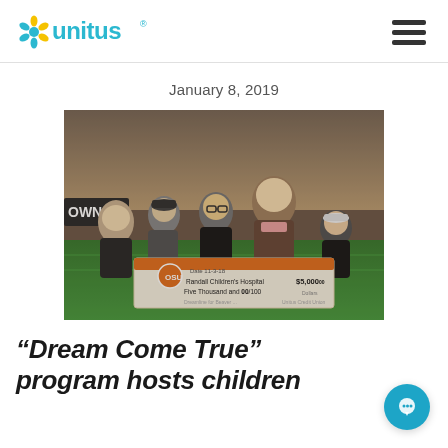Unitus (logo)
January 8, 2019
[Figure (photo): Group of five people on a football field holding a large ceremonial check made out to Randall Children's Hospital for $5,000, dated 11-3-18, with the Oregon State Beavers logo. A stadium full of fans is visible in the background.]
“Dream Come True” program hosts children